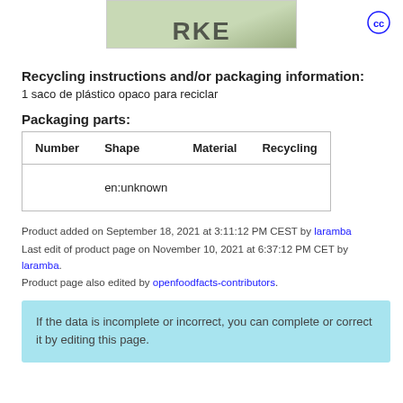[Figure (photo): Partial product label/stamp image showing text arc on green background, cropped at top]
[Figure (logo): Creative Commons (CC) circular logo icon in blue outline]
Recycling instructions and/or packaging information:
1 saco de plástico opaco para reciclar
Packaging parts:
| Number | Shape | Material | Recycling |
| --- | --- | --- | --- |
|  | en:unknown |  |  |
Product added on September 18, 2021 at 3:11:12 PM CEST by laramba
Last edit of product page on November 10, 2021 at 6:37:12 PM CET by laramba.
Product page also edited by openfoodfacts-contributors.
If the data is incomplete or incorrect, you can complete or correct it by editing this page.